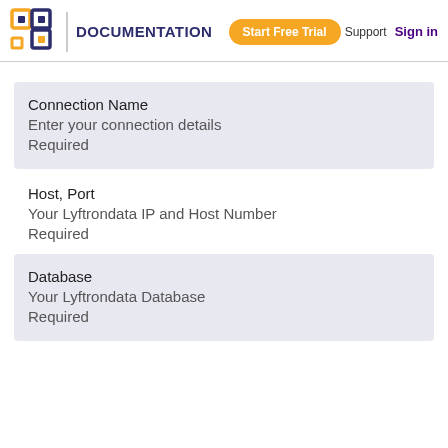DOCUMENTATION | Start Free Trial | Support | Sign in
Connection Name
Enter your connection details
Required
Host, Port
Your Lyftrondata IP and Host Number
Required
Database
Your Lyftrondata Database
Required